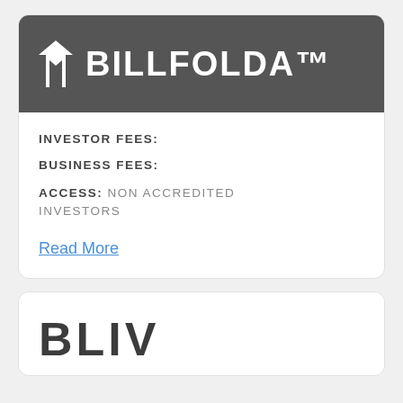[Figure (logo): BILLFOLDA™ logo — white text on dark gray background with a stylized Y/fork icon on the left]
INVESTOR FEES:
BUSINESS FEES:
ACCESS: NON ACCREDITED INVESTORS
Read More
[Figure (logo): BLIV logo — distressed/grunge style black text on white background, partially visible at bottom of page]